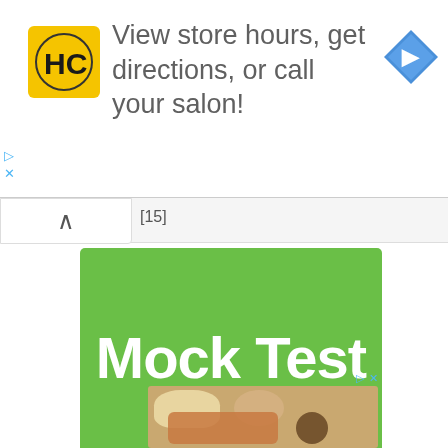[Figure (screenshot): Advertisement banner: HC logo (yellow square with HC letters), text 'View store hours, get directions, or call your salon!', blue navigation diamond icon on right]
[15]
[Figure (illustration): Green rectangle banner with white bold text 'Mock Test']
Tamil Literature from Sangam age till contemporary times - TNPSC History [Questions & Answers]
[Figure (photo): Food photo advertisement showing fried chicken, bread rolls and dipping sauce on a plate]